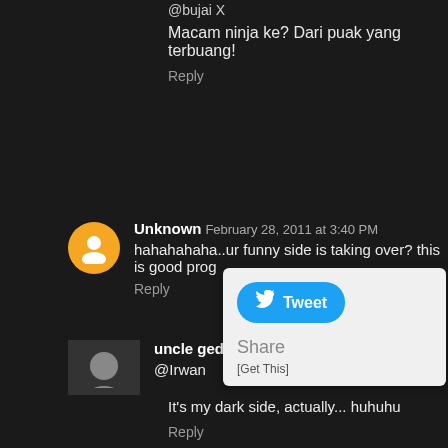@bujai X
Macam ninja ke? Dari puak yang terbuang!
Reply
Unknown  February 28, 2011 at 3:40 PM
hahahahaha..ur funny side is taking over? this is good prog
Reply
uncle gedek  February 28, 2011 at 4:30 PM
@Irwan
It's my dark side, actually... huhuhu
Reply
[Figure (screenshot): Tweet button popup with Share and [Get This] options]
cikceriacorner  February 28, 2011 at 5:08 PM
respek la uncle...rajinnye..:)